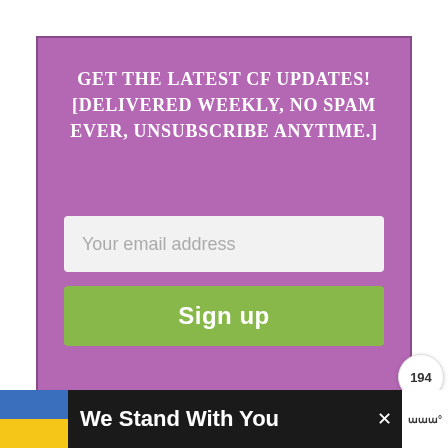Get the latest CF updates! [Delivered weekly, no spam ever, unsubscribe anytime.]
Your email address
Sign up
194
[Figure (screenshot): Bottom photo strip showing partial image]
We Stand With You